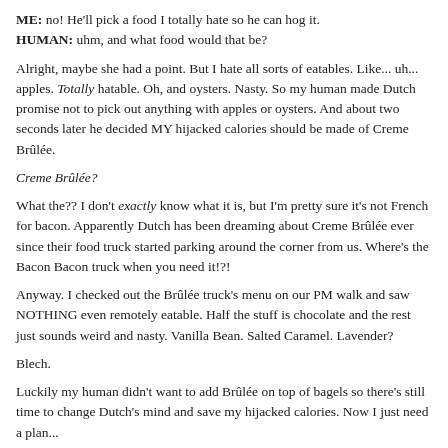ME: no! He'll pick a food I totally hate so he can hog it.
HUMAN: uhm, and what food would that be?
Alright, maybe she had a point. But I hate all sorts of eatables. Like... uh... apples. Totally hatable. Oh, and oysters. Nasty. So my human made Dutch promise not to pick out anything with apples or oysters. And about two seconds later he decided MY hijacked calories should be made of Creme Brûlée.
Creme Brûlée?
What the?? I don't exactly know what it is, but I'm pretty sure it's not French for bacon. Apparently Dutch has been dreaming about Creme Brûlée ever since their food truck started parking around the corner from us. Where's the Bacon Bacon truck when you need it!?!
Anyway. I checked out the Brûlée truck's menu on our PM walk and saw NOTHING even remotely eatable. Half the stuff is chocolate and the rest just sounds weird and nasty. Vanilla Bean. Salted Caramel. Lavender?
Blech.
Luckily my human didn't want to add Brûlée on top of bagels so there's still time to change Dutch's mind and save my hijacked calories. Now I just need a plan...
2 COMMENTS OR CAPTIONS